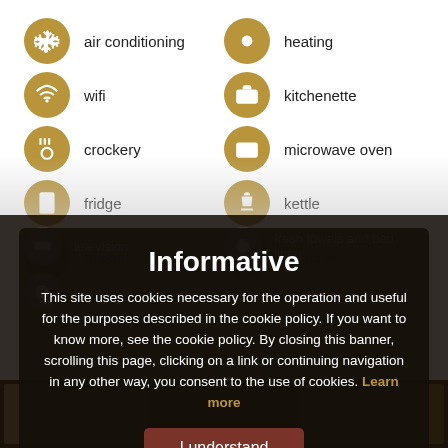air conditioning
heating
wifi
kitchenette
crockery
microwave oven
fridge
kettle
toaster
hairdryer
television
fresh towels and bed linen
toiletry set
Informative
This site uses cookies necessary for the operation and useful for the purposes described in the cookie policy. If you want to know more, see the cookie policy. By closing this banner, scrolling this page, clicking on a link or continuing navigation in any other way, you consent to the use of cookies. Learn more
I understand